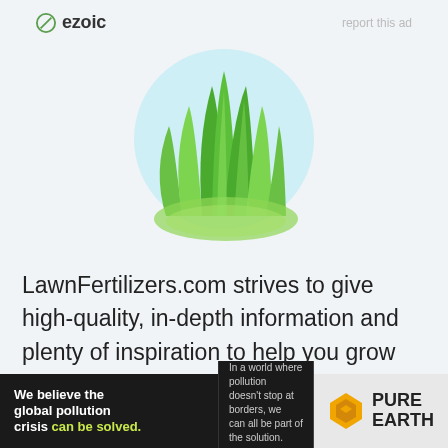[Figure (logo): Ezoic logo with text 'ezoic' and a circular icon with a diagonal line]
report this ad
[Figure (illustration): Cartoon grass illustration with green blades of grass growing from a light blue circular background]
LawnFertilizers.com strives to give high-quality, in-depth information and plenty of inspiration to help you grow and maintain the lawn of your dreams.
[Figure (infographic): Pure Earth advertisement banner: 'We believe the global pollution crisis can be solved.' with Pure Earth logo on dark background]